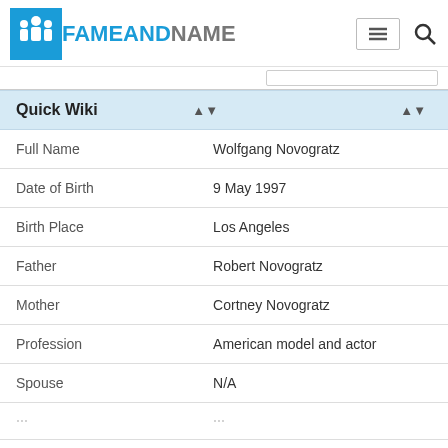FAMEANDNAME
| Quick Wiki |  |
| --- | --- |
| Full Name | Wolfgang Novogratz |
| Date of Birth | 9 May 1997 |
| Birth Place | Los Angeles |
| Father | Robert Novogratz |
| Mother | Cortney Novogratz |
| Profession | American model and actor |
| Spouse | N/A |